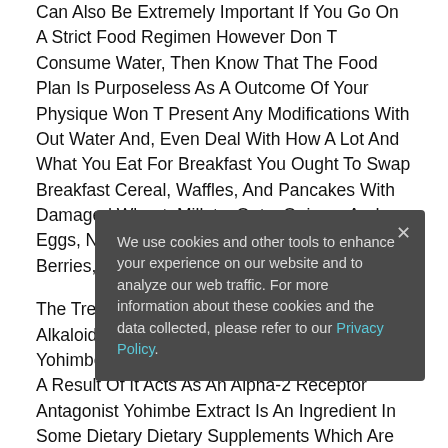Can Also Be Extremely Important If You Go On A Strict Food Regimen However Don T Consume Water, Then Know That The Food Plan Is Purposeless As A Outcome Of Your Physique Won T Present Any Modifications With Out Water And, Even Deal With How A Lot And What You Eat For Breakfast You Ought To Swap Breakfast Cereal, Waffles, And Pancakes With Damaged Wheat, Millets, Oats, Quinoa, And Eggs, Nuts Or Seeds, Avocado, A Quantity Of Berries, And So On.
The Tree S Bark Incorporates Several Indole Alkaloids, Including A Purely Constituent Of Yohimbe, Is The Primarily Biological Effects For A Result Of It Acts As An Alpha-2 Receptor Antagonist Yohimbe Extract Is An Ingredient In Some Dietary Dietary Supplements Which Are Promoted For Libido Enhancement, Physique Constructing, And Weight Loss , But It Is Alina Crunch Keto Cereal Used Primarily As
We use cookies and other tools to enhance your experience on our website and to analyze our web traffic. For more information about these cookies and the data collected, please refer to our Privacy Policy.